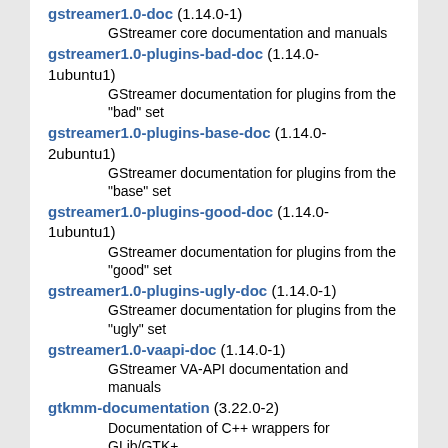gstreamer1.0-doc (1.14.0-1)
    GStreamer core documentation and manuals
gstreamer1.0-plugins-bad-doc (1.14.0-1ubuntu1)
    GStreamer documentation for plugins from the "bad" set
gstreamer1.0-plugins-base-doc (1.14.0-2ubuntu1)
    GStreamer documentation for plugins from the "base" set
gstreamer1.0-plugins-good-doc (1.14.0-1ubuntu1)
    GStreamer documentation for plugins from the "good" set
gstreamer1.0-plugins-ugly-doc (1.14.0-1)
    GStreamer documentation for plugins from the "ugly" set
gstreamer1.0-vaapi-doc (1.14.0-1)
    GStreamer VA-API documentation and manuals
gtkmm-documentation (3.22.0-2)
    Documentation of C++ wrappers for GLib/GTK+
guile-2.0-doc (2.0.13+1-5build2)
    Documentation for Guile 2.0
guile-2.2-doc (2.2.3+1-3build1)
    Documentation for Guile 2.2